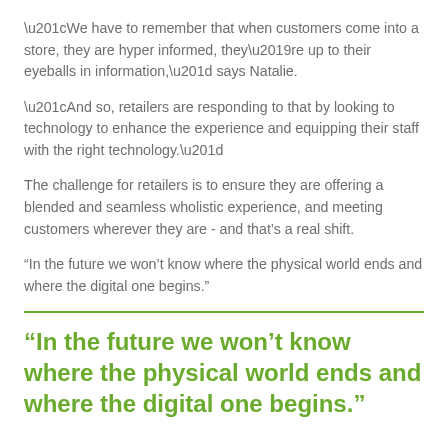“We have to remember that when customers come into a store, they are hyper informed, they’re up to their eyeballs in information,” says Natalie.
“And so, retailers are responding to that by looking to technology to enhance the experience and equipping their staff with the right technology.”
The challenge for retailers is to ensure they are offering a blended and seamless wholistic experience, and meeting customers wherever they are - and that’s a real shift.
“In the future we won’t know where the physical world ends and where the digital one begins.”
“In the future we won’t know where the physical world ends and where the digital one begins.”